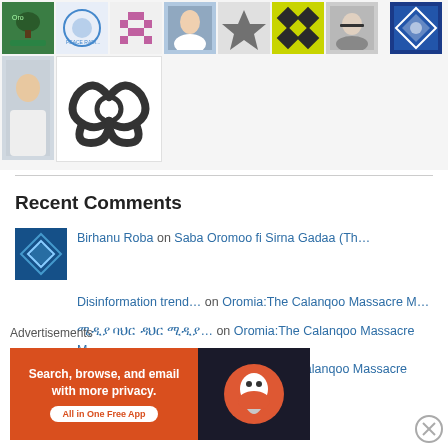[Figure (photo): Grid of social media avatar thumbnails — row 1: green tree icon, blue circle logo, pink pixel character, person in white, geometric star pattern, yellow-green diamond pattern, illustrated face with glasses, blue geometric pattern; row 2: man in white thobe, biohazard symbol on white]
Recent Comments
Birhanu Roba on Saba Oromoo fi Sirna Gadaa (Th…
Disinformation trend… on Oromia:The Calanqoo Massacre M…
ሚዲያ ባህር ዳህር ሚዲያ… on Oromia:The Calanqoo Massacre M…
A summary of disinfo… on Oromia:The Calanqoo Massacre M…
Advertisements
[Figure (screenshot): DuckDuckGo advertisement banner: orange left panel with text 'Search, browse, and email with more privacy.' and 'All in One Free App', dark right panel with DuckDuckGo logo]